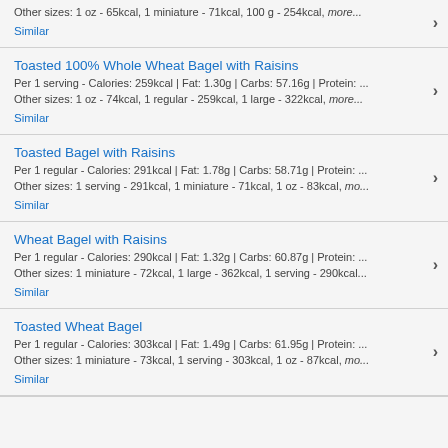Other sizes: 1 oz - 65kcal, 1 miniature - 71kcal, 100 g - 254kcal, more...
Similar
Toasted 100% Whole Wheat Bagel with Raisins
Per 1 serving - Calories: 259kcal | Fat: 1.30g | Carbs: 57.16g | Protein: ...
Other sizes: 1 oz - 74kcal, 1 regular - 259kcal, 1 large - 322kcal, more...
Similar
Toasted Bagel with Raisins
Per 1 regular - Calories: 291kcal | Fat: 1.78g | Carbs: 58.71g | Protein: ...
Other sizes: 1 serving - 291kcal, 1 miniature - 71kcal, 1 oz - 83kcal, mo...
Similar
Wheat Bagel with Raisins
Per 1 regular - Calories: 290kcal | Fat: 1.32g | Carbs: 60.87g | Protein: ...
Other sizes: 1 miniature - 72kcal, 1 large - 362kcal, 1 serving - 290kcal...
Similar
Toasted Wheat Bagel
Per 1 regular - Calories: 303kcal | Fat: 1.49g | Carbs: 61.95g | Protein: ...
Other sizes: 1 miniature - 73kcal, 1 serving - 303kcal, 1 oz - 87kcal, mo...
Similar